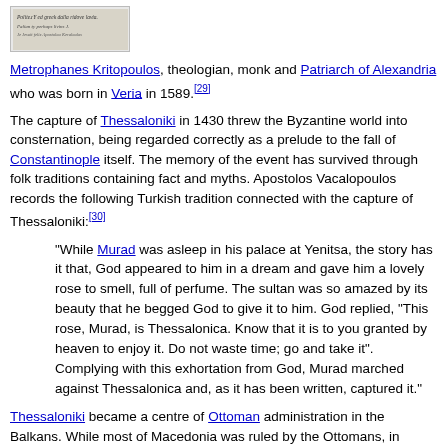[Figure (photo): Small image showing handwritten text, appears to be a manuscript or signature page]
Metrophanes Kritopoulos, theologian, monk and Patriarch of Alexandria who was born in Veria in 1589.[29]
The capture of Thessaloniki in 1430 threw the Byzantine world into consternation, being regarded correctly as a prelude to the fall of Constantinople itself. The memory of the event has survived through folk traditions containing fact and myths. Apostolos Vacalopoulos records the following Turkish tradition connected with the capture of Thessaloniki:[30]
"While Murad was asleep in his palace at Yenitsa, the story has it that, God appeared to him in a dream and gave him a lovely rose to smell, full of perfume. The sultan was so amazed by its beauty that he begged God to give it to him. God replied, "This rose, Murad, is Thessalonica. Know that it is to you granted by heaven to enjoy it. Do not waste time; go and take it". Complying with this exhortation from God, Murad marched against Thessalonica and, as it has been written, captured it."
Thessaloniki became a centre of Ottoman administration in the Balkans. While most of Macedonia was ruled by the Ottomans, in Mount Athos the monastic community continued to exist its...